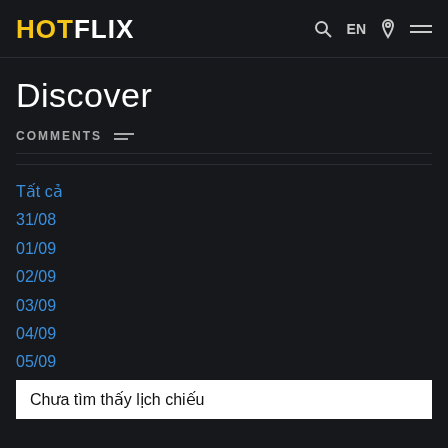HOTFLIX | EN
Discover
COMMENTS
Tất cả
31/08
01/09
02/09
03/09
04/09
05/09
Chưa tìm thấy lịch chiếu